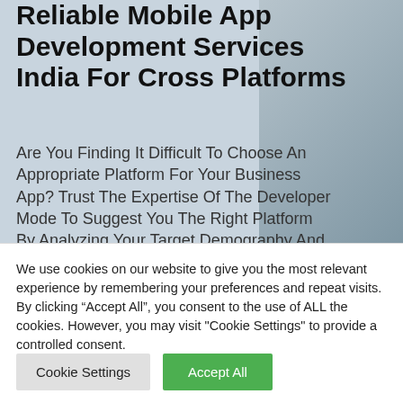Reliable Mobile App Development Services India For Cross Platforms
Are You Finding It Difficult To Choose An Appropriate Platform For Your Business App? Trust The Expertise Of The Developer Mode To Suggest You The Right Platform By Analyzing Your Target Demography And Competitors. As A Premier Mobile App
We use cookies on our website to give you the most relevant experience by remembering your preferences and repeat visits. By clicking “Accept All”, you consent to the use of ALL the cookies. However, you may visit "Cookie Settings" to provide a controlled consent.